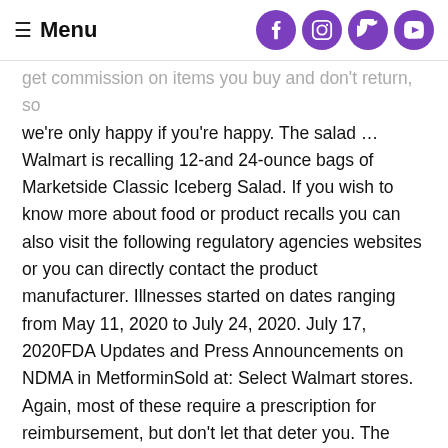≡ Menu
get commission on items you buy and don't return, so we're only happy if you're happy. The salad … Walmart is recalling 12-and 24-ounce bags of Marketside Classic Iceberg Salad. If you wish to know more about food or product recalls you can also visit the following regulatory agencies websites or you can directly contact the product manufacturer. Illnesses started on dates ranging from May 11, 2020 to July 24, 2020. July 17, 2020FDA Updates and Press Announcements on NDMA in MetforminSold at: Select Walmart stores. Again, most of these require a prescription for reimbursement, but don't let that deter you. The voluntary recall, which was issued Oct. 2, includes pre-cut and sliced apples, mangoes, grapes, pineapple, and cantaloupe. Thanks for helping us pay the bills! While basics like toothpaste and cosmetic procedures like whitening treatments aren't FSA eligible, most of the expenses you incur at your dentist's office